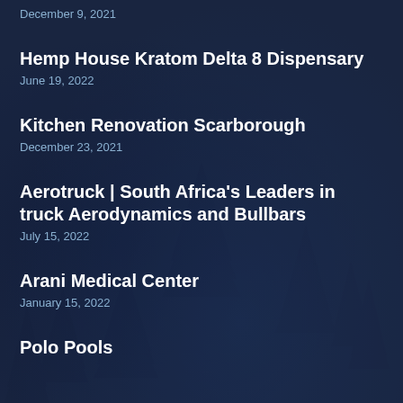December 9, 2021
Hemp House Kratom Delta 8 Dispensary
June 19, 2022
Kitchen Renovation Scarborough
December 23, 2021
Aerotruck | South Africa's Leaders in truck Aerodynamics and Bullbars
July 15, 2022
Arani Medical Center
January 15, 2022
Polo Pools